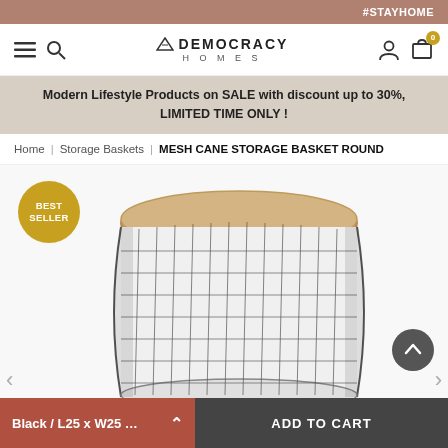#STAYHOME
[Figure (logo): Democracy Homes logo with hamburger menu, search icon, user icon, and cart icon with badge 0]
Modern Lifestyle Products on SALE with discount up to 30%, LIMITED TIME ONLY !
Home | Storage Baskets | MESH CANE STORAGE BASKET ROUND
[Figure (photo): Round wire mesh storage basket with natural cane wrapped rim, cylindrical black metal wire basket with rattan/cane top edge, shown on white background. BEST SELLER badge in top left.]
Black / L25 x W25 ...
ADD TO CART